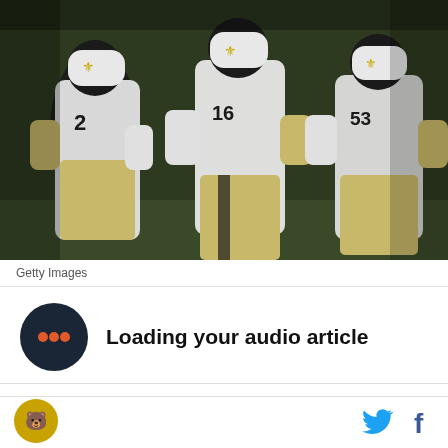[Figure (photo): New Orleans Saints football players in white and gold uniforms on the field, multiple players visible with fleur-de-lis helmets and jersey numbers including 6 and 3]
Getty Images
Loading your audio article
On a day that's got everybody on WCC apparently
[Figure (logo): Bears team logo circle]
[Figure (logo): Twitter bird icon and Facebook f icon]